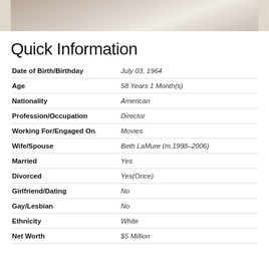[Figure (photo): Partial photo of a person, cropped at the top of the page]
Quick Information
| Field | Value |
| --- | --- |
| Date of Birth/Birthday | July 03, 1964 |
| Age | 58 Years 1 Month(s) |
| Nationality | American |
| Profession/Occupation | Director |
| Working For/Engaged On | Movies |
| Wife/Spouse | Beth LaMure (m.1998–2006) |
| Married | Yes |
| Divorced | Yes(Once) |
| Girlfriend/Dating | No |
| Gay/Lesbian | No |
| Ethnicity | White |
| Net Worth | $5 Million |